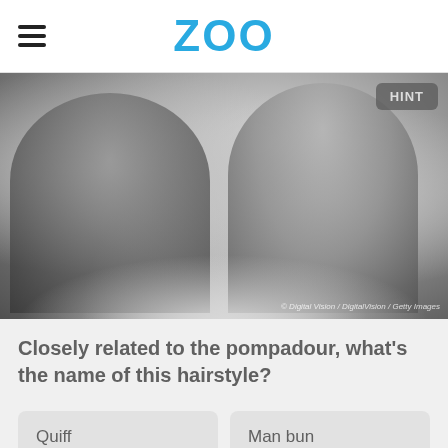ZOO
[Figure (photo): Grayscale concert photo showing two performers on stage — a guitarist on the left and a singer holding a microphone on the right, with stage smoke and lighting. Photo credit: Digital Vision / DigitalVision / Getty Images]
Closely related to the pompadour, what's the name of this hairstyle?
Quiff
Man bun